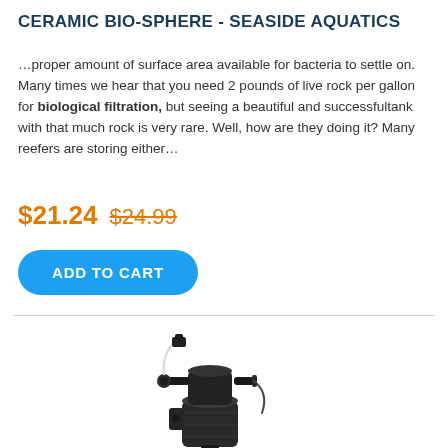CERAMIC BIO-SPHERE - SEASIDE AQUATICS
…proper amount of surface area available for bacteria to settle on. Many times we hear that you need 2 pounds of live rock per gallon for biological filtration, but seeing a beautiful and successfultank with that much rock is very rare. Well, how are they doing it? Many reefers are storing either…
$21.24  $24.99
ADD TO CART
[Figure (photo): A black canister aquarium filter/pump device with tubing and attachment clips, shown on a white background.]